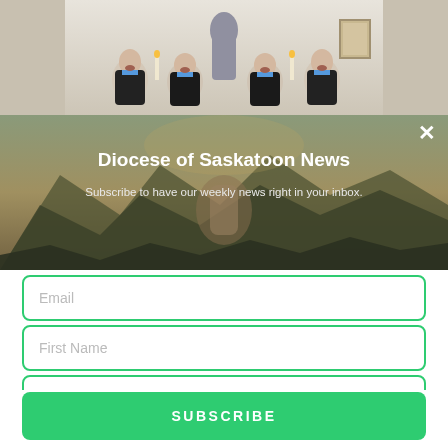[Figure (photo): Top portion showing church interior with four priests/clergy singing, a statue in the background, and church decor]
Diocese of Saskatoon News
Subscribe to have our weekly news right in your inbox.
Email (input field placeholder)
First Name (input field placeholder)
Last name (input field placeholder)
Opt in to receive news and updates.
SUBSCRIBE